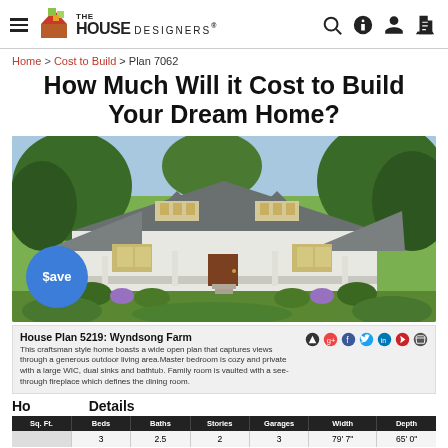The House Designers®
Home > Cost to Build > Plan 7062
How Much Will it Cost to Build Your Dream Home?
[Figure (photo): Rendered exterior image of House Plan 5219 Wyndsong Farm, a craftsman/farmhouse style two-story home with covered porch, dormer windows, grey shingle roof, surrounded by lush green landscaping and flowering plants.]
House Plan 5219: Wyndsong Farm
This craftsman style home boasts a wide open plan that captures views through a generous outdoor living area.Master bedroom is cozy and private with a large WIC, dual sinks and bathtub. Family room is vaulted with a see-through fireplace which defines the dining room.
Home Details
| Sq. Ft. | Beds | Baths | Stories | Garages | Width | Depth |
| --- | --- | --- | --- | --- | --- | --- |
|  | 3 | 2.5 | 2 | 3 | 79' 7" | 65' 0" |